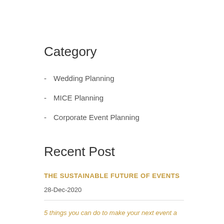Category
Wedding Planning
MICE Planning
Corporate Event Planning
Recent Post
THE SUSTAINABLE FUTURE OF EVENTS
28-Dec-2020
5 things you can do to make your next event a